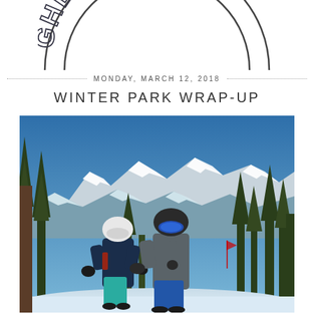[Figure (logo): Partial circular logo showing letters 'GHBORHO' in outline/hollow style, cropped at top of page]
MONDAY, MARCH 12, 2018
WINTER PARK WRAP-UP
[Figure (photo): Two people in ski gear (helmets and goggles) posing on a snowy mountain slope at Winter Park. Snow-capped mountains and pine trees visible in the background under a clear blue sky.]